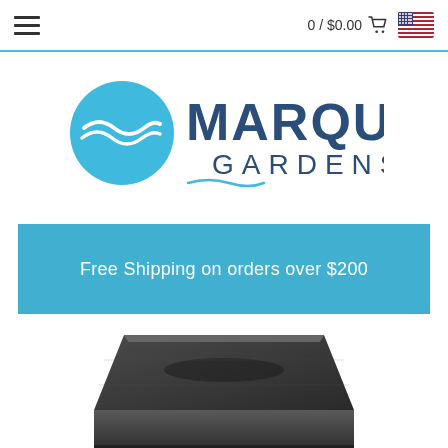0 / $0.00
[Figure (logo): Marquis Gardens logo with blue circle containing wave graphic and text MARQUIS GARDENS]
Free Shipping on orders over $200
[Figure (photo): Partial view of a dark grey/graphite garden product (appears to be a planter or water feature) shown from above at an angle]